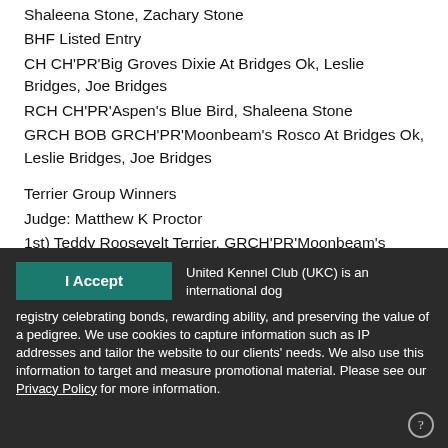Shaleena Stone, Zachary Stone
BHF Listed Entry
CH CH'PR'Big Groves Dixie At Bridges Ok, Leslie Bridges, Joe Bridges
RCH CH'PR'Aspen's Blue Bird, Shaleena Stone
GRCH BOB GRCH'PR'Moonbeam's Rosco At Bridges Ok, Leslie Bridges, Joe Bridges
Terrier Group Winners
Judge: Matthew K Proctor
1st) Teddy Roosevelt Terrier, GRCH'PR'Moonbeam's Rosco At Bridges Ok
United Kennel Club (UKC) is an international dog registry celebrating bonds, rewarding ability, and preserving the value of a pedigree. We use cookies to capture information such as IP addresses and tailor the website to our clients' needs. We also use this information to target and measure promotional material. Please see our Privacy Policy for more information.